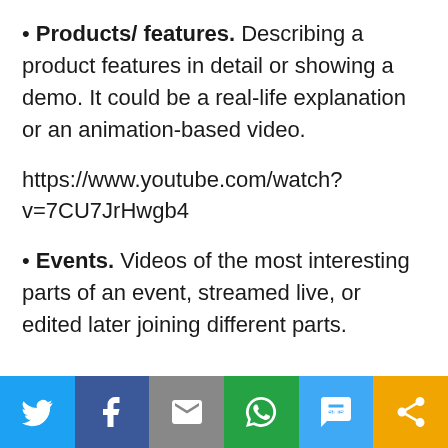• Products/ features. Describing a product features in detail or showing a demo. It could be a real-life explanation or an animation-based video.
https://www.youtube.com/watch?v=7CU7JrHwgb4
• Events. Videos of the most interesting parts of an event, streamed live, or edited later joining different parts.